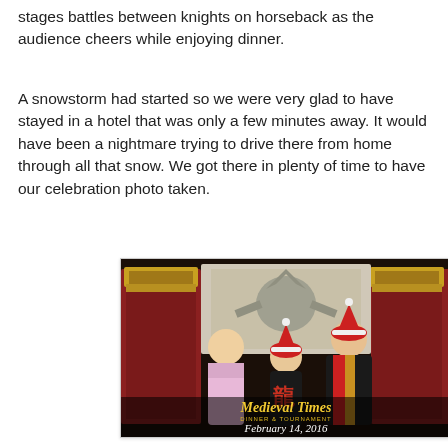stages battles between knights on horseback as the audience cheers while enjoying dinner.
A snowstorm had started so we were very glad to have stayed in a hotel that was only a few minutes away. It would have been a nightmare trying to drive there from home through all that snow. We got there in plenty of time to have our celebration photo taken.
[Figure (photo): A family of three posing at Medieval Times Dinner & Tournament on February 14, 2016. They are seated/standing in front of ornate red and gold thrones. A woman in a pink gown is on the left, a child in the middle wearing a Santa hat, and a man on the right in a black and red medieval robe with a Santa hat. The bottom of the photo has the Medieval Times logo and 'February 14, 2016' in white script.]